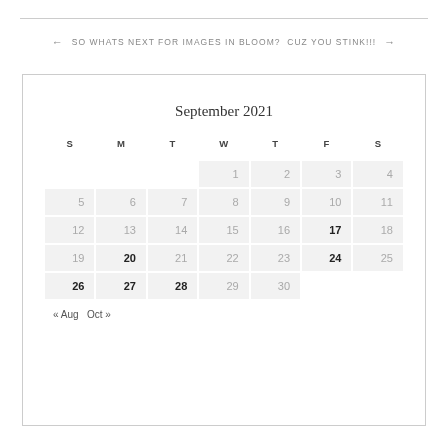← SO WHATS NEXT FOR IMAGES IN BLOOM? CUZ YOU STINK!!! →
| S | M | T | W | T | F | S |
| --- | --- | --- | --- | --- | --- | --- |
|  |  |  | 1 | 2 | 3 | 4 |
| 5 | 6 | 7 | 8 | 9 | 10 | 11 |
| 12 | 13 | 14 | 15 | 16 | 17 | 18 |
| 19 | 20 | 21 | 22 | 23 | 24 | 25 |
| 26 | 27 | 28 | 29 | 30 |  |  |
« Aug   Oct »